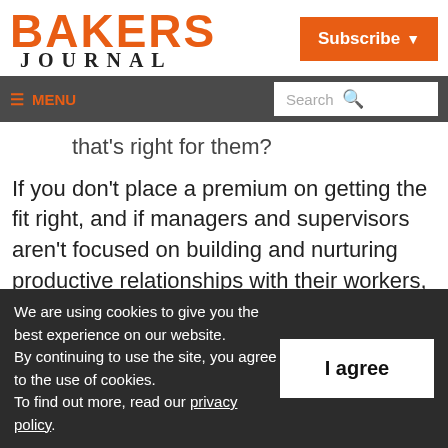BAKERS JOURNAL
that's right for them?
If you don't place a premium on getting the fit right, and if managers and supervisors aren't focused on building and nurturing productive relationships with their workers, you'll never achieve and sustain the levels of engagement
We are using cookies to give you the best experience on our website. By continuing to use the site, you agree to the use of cookies. To find out more, read our privacy policy.